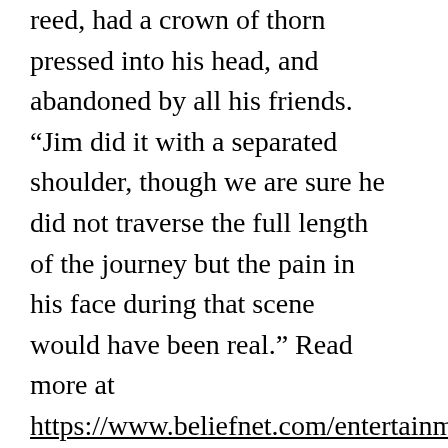reed, had a crown of thorn pressed into his head, and abandoned by all his friends. “Jim did it with a separated shoulder, though we are sure he did not traverse the full length of the journey but the pain in his face during that scene would have been real.” Read more at https://www.beliefnet.com/entertainment/m things-you-didnt-know-about-the-passion-of-the-christ-movie.aspx? p=2#3m5q2PY4OhVyx0Tb.99